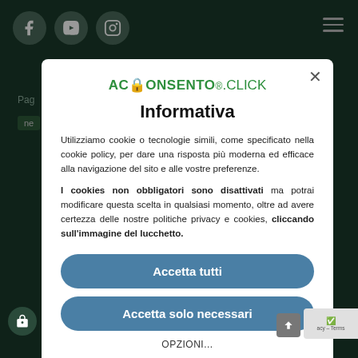[Figure (screenshot): Website screenshot showing dark green background with social media icons (Facebook, YouTube, Instagram) and hamburger menu. A cookie consent modal overlay from aconsento.click is displayed in the center with title 'Informativa', explanatory text about cookies, two buttons ('Accetta tutti' and 'Accetta solo necessari'), and an 'OPZIONI...' link.]
Informativa
Utilizziamo cookie o tecnologie simili, come specificato nella cookie policy, per dare una risposta più moderna ed efficace alla navigazione del sito e alle vostre preferenze.
I cookies non obbligatori sono disattivati ma potrai modificare questa scelta in qualsiasi momento, oltre ad avere certezza delle nostre politiche privacy e cookies, cliccando sull'immagine del lucchetto.
Accetta tutti
Accetta solo necessari
OPZIONI...